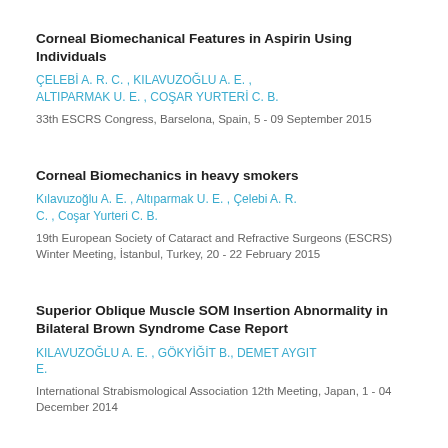Corneal Biomechanical Features in Aspirin Using Individuals
ÇELEBİ A. R. C. , KILAVUZOĞLU A. E. , ALTIPARMAK U. E. , COŞAR YURTERİ C. B.
33th ESCRS Congress, Barselona, Spain, 5 - 09 September 2015
Corneal Biomechanics in heavy smokers
Kılavuzoğlu A. E. , Altıparmak U. E. , Çelebi A. R. C. , Coşar Yurteri C. B.
19th European Society of Cataract and Refractive Surgeons (ESCRS) Winter Meeting, İstanbul, Turkey, 20 - 22 February 2015
Superior Oblique Muscle SOM Insertion Abnormality in Bilateral Brown Syndrome Case Report
KILAVUZOĞLU A. E. , GÖKYİĞİT B., DEMET AYGIT E.
International Strabismological Association 12th Meeting, Japan, 1 - 04 December 2014